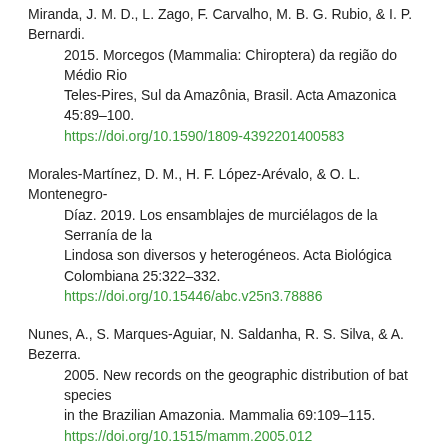Miranda, J. M. D., L. Zago, F. Carvalho, M. B. G. Rubio, & I. P. Bernardi. 2015. Morcegos (Mammalia: Chiroptera) da região do Médio Rio Teles-Pires, Sul da Amazônia, Brasil. Acta Amazonica 45:89–100. https://doi.org/10.1590/1809-4392201400583
Morales-Martínez, D. M., H. F. López-Arévalo, & O. L. Montenegro-Díaz. 2019. Los ensamblajes de murciélagos de la Serranía de la Lindosa son diversos y heterogéneos. Acta Biológica Colombiana 25:322–332. https://doi.org/10.15446/abc.v25n3.78886
Nunes, A., S. Marques-Aguiar, N. Saldanha, R. S. Silva, & A. Bezerra. 2005. New records on the geographic distribution of bat species in the Brazilian Amazonia. Mammalia 69:109–115. https://doi.org/10.1515/mamm.2005.012
Parlos, J. A., R. M. Timm, V. J. Swier, H. Zeballos, & R. J. Baker. 2014. Evaluation of paraphyletic assemblages within Lonchophyllinae, with description of a new tribe and genus. Occasional Papers, Museum of Texas Tech University 320: 1–23.
Rex, K., D. H. Kelm, K. Wiesner, T. H. Kunz, & C. C. Voigt. 2008. Species